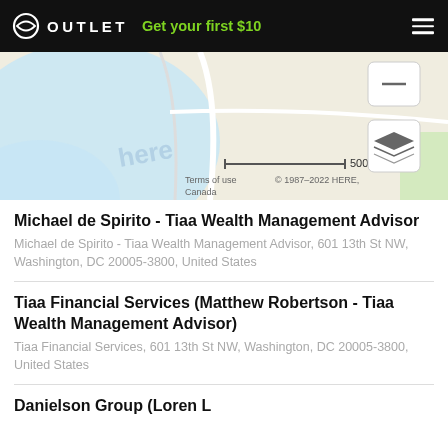OUTLET  Get your first $10
[Figure (map): HERE map showing street view with scale bar 500 m, copyright 1987-2022 HERE, Canada. Terms of use shown. Map includes zoom and layer controls.]
Michael de Spirito - Tiaa Wealth Management Advisor
Michael de Spirito - Tiaa Wealth Management Advisor, 601 13th St NW, Washington, DC 20005-3800, United States
Tiaa Financial Services (Matthew Robertson - Tiaa Wealth Management Advisor)
Tiaa Financial Services, 601 13th St NW, Washington, DC 20005-3800, United States
Danielson Group (Loren L